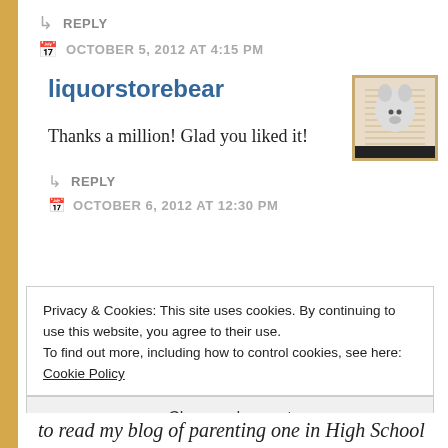↳ REPLY
OCTOBER 5, 2012 AT 4:15 PM
liquorstorebear
[Figure (photo): Avatar photo of a stuffed animal or white plush toy, small square thumbnail with tan/golden border]
Thanks a million! Glad you liked it!
↳ REPLY
OCTOBER 6, 2012 AT 12:30 PM
Privacy & Cookies: This site uses cookies. By continuing to use this website, you agree to their use.
To find out more, including how to control cookies, see here: Cookie Policy
Close and accept
to read my blog of parenting one in High School